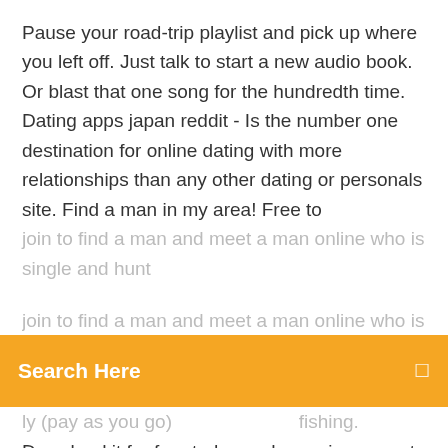Pause your road-trip playlist and pick up where you left off. Just talk to start a new audio book. Or blast that one song for the hundredth time. Dating apps japan reddit - Is the number one destination for online dating with more relationships than any other dating or personals site. Find a man in my area! Free to join to find a man and meet a man online who is single and hunt
[Figure (screenshot): Orange search bar overlay with text 'Search Here' and a small icon on the right]
Download it for free today and experience next level fishing for yourself. Download some of the best apps for travel in Japan avoid some of the typical tourist pitfalls, but don't be afraid to go out without your smartphone. Discover All Navigation Apps for iPhone or iPad All the apps are free to download for iOS and Android, some with in-app purchases. Links to helpful services also provided. [Route search] -The app navigates you from your preferred point of departure to your destination. -Search covers all modes of public transport (trains including JR and subway